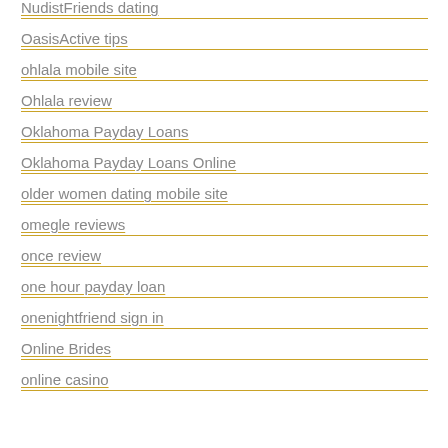NudistFriends dating
OasisActive tips
ohlala mobile site
Ohlala review
Oklahoma Payday Loans
Oklahoma Payday Loans Online
older women dating mobile site
omegle reviews
once review
one hour payday loan
onenightfriend sign in
Online Brides
online casino